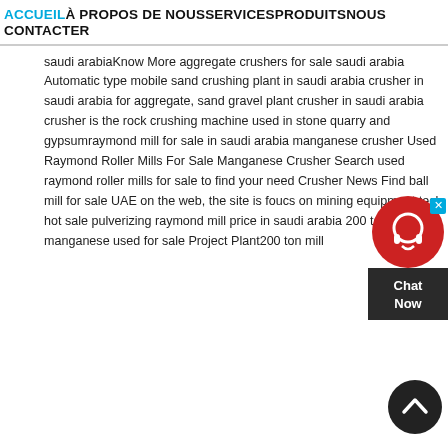ACCUEIL À PROPOS DE NOUS SERVICES PRODUITS NOUS CONTACTER
mill for sale in saudi arabia manganese crusher crusher sell emirates in saudi arabiaKnow More aggregate crushers for sale saudi arabia Automatic type mobile sand crushing plant in saudi arabia crusher in saudi arabia for aggregate, sand gravel plant crusher in saudi arabia crusher is the rock crushing machine used in stone quarry and gypsumraymond mill for sale in saudi arabia manganese crusher Used Raymond Roller Mills For Sale Manganese Crusher Search used raymond roller mills for sale to find your need Crusher News Find ball mill for sale UAE on the web, the site is foucs on mining equipment tech hot sale pulverizing raymond mill price in saudi arabia 200 ton mill manganese used for sale Project Plant200 ton mill